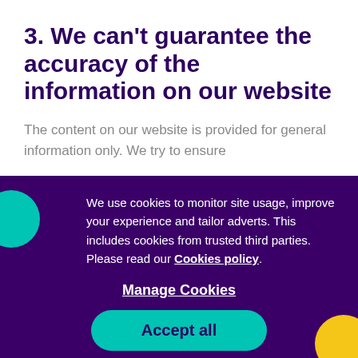3. We can’t guarantee the accuracy of the information on our website
The content on our website is provided for general information only. We try to ensure
We use cookies to monitor site usage, improve your experience and tailor adverts. This includes cookies from trusted third parties. Please read our Cookies policy.
Manage Cookies
Accept all